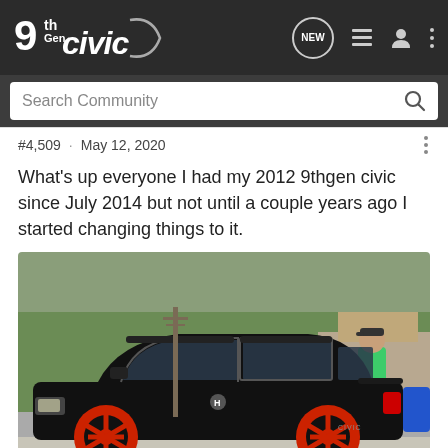[Figure (logo): 9th Gen Civic forum logo with white text on dark background]
Search Community
#4,509 · May 12, 2020
What's up everyone I had my 2012 9thgen civic since July 2014 but not until a couple years ago I started changing things to it.
[Figure (photo): Photo of a black Honda Civic (9th gen) with red wheels parked on a street, with an SUV and a person in a green shirt visible in the background]